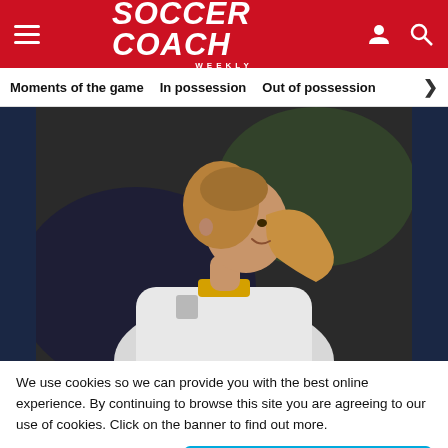SOCCER COACH WEEKLY
Moments of the game | In possession | Out of possession >
[Figure (photo): Female soccer player in white and gold jersey with blonde ponytail, smiling, photographed in profile against dark background]
We use cookies so we can provide you with the best online experience. By continuing to browse this site you are agreeing to our use of cookies. Click on the banner to find out more.
Cookie Settings | ACCEPT ALL COOKIES